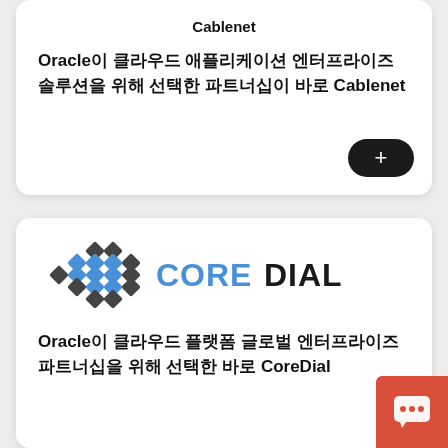Cablenet
Oracle이 클라우드 애플리케이션 엔터프라이즈 솔루션을 위해 선택한 파트너십이 바로 Cablenet
[Figure (logo): CoreDial company logo with blue diamond grid icon and COREDIAL text]
Oracle이 클라우드 플랫폼 글로벌 엔터프라이즈 파트너십을 위해 선택한 바로 CoreDial